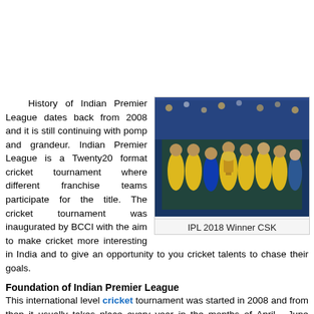History of Indian Premier League dates back from 2008 and it is still continuing with pomp and grandeur. Indian Premier League is a Twenty20 format cricket tournament where different franchise teams participate for the title. The cricket tournament was inaugurated by BCCI with the aim to make cricket more interesting in India and to give an opportunity to you cricket talents to chase their goals.
[Figure (photo): Team photo of IPL 2018 Winner CSK (Chennai Super Kings) players in yellow jerseys celebrating with the trophy]
IPL 2018 Winner CSK
Foundation of Indian Premier League
This international level cricket tournament was started in 2008 and from then it usually takes place every year in the months of April - June especially in summer. It is currently supervised by BCCI Vice-President Ranjib Biswal, who serves as the League's Chairman and Commissioner of Indian Premier League.